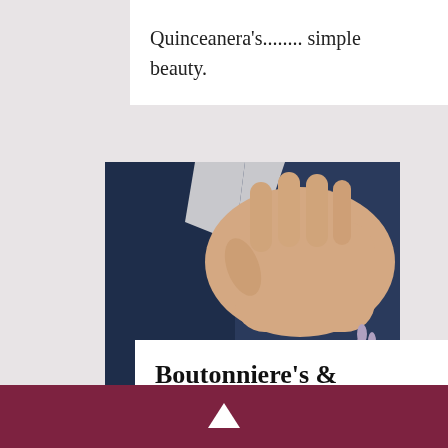Quinceanera's........ simple beauty.
[Figure (photo): Close-up photo of a person's hand resting on a dark suit jacket with a boutonniere (white roses with blue and purple accents), and a corsage on the wrist (white roses with blue, purple, and lavender flowers).]
Boutonniere's & Corsages
Prom, Weddings,
↑